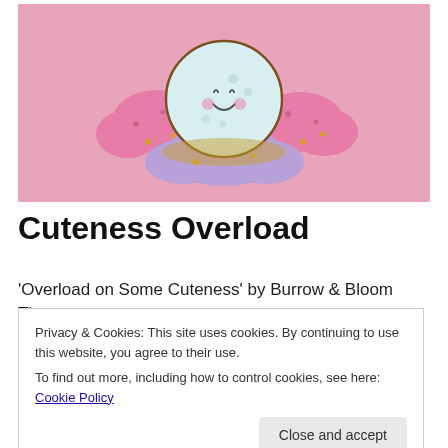[Figure (photo): A kawaii-style enamel pin of a smiling moon with pink and purple clouds on a pink background.]
Cuteness Overload
'Overload on Some Cuteness' by Burrow & Bloom  The
Privacy & Cookies: This site uses cookies. By continuing to use this website, you agree to their use.
To find out more, including how to control cookies, see here: Cookie Policy